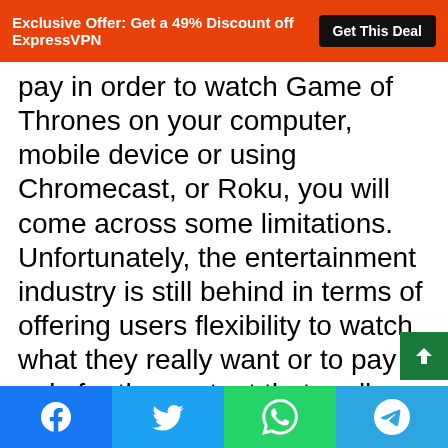Exclusive Offer: Get a 49% Discount off ExpressVPN  Get This Deal
pay in order to watch Game of Thrones on your computer, mobile device or using Chromecast, or Roku, you will come across some limitations. Unfortunately, the entertainment industry is still behind in terms of offering users flexibility to watch what they really want or to pay only for the content that really interests them. The situation with Game of Thrones is a clear example of this. Even those in the US who don't have or want a cable subscription and prefer to pay for streaming websites, come across issues while trying to find a service that allows them to watch Game of
[Facebook] [Twitter] [WhatsApp] [Telegram]